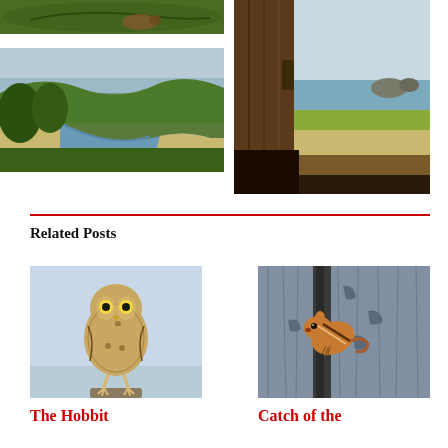[Figure (photo): Close-up photo of a green leaf with a small snake or lizard, dark green background]
[Figure (photo): Aerial or elevated view of a river winding through forested estuary with sandy beach, coastal landscape]
[Figure (photo): View through an open wooden door/window looking out over a coastal beach scene with ocean rocks]
Related Posts
[Figure (photo): Burrowing owl standing on a post against a light blue sky, looking at the camera]
[Figure (photo): A chipmunk or small squirrel clinging to weathered grey cracked wood]
The Hobbit
Catch of the